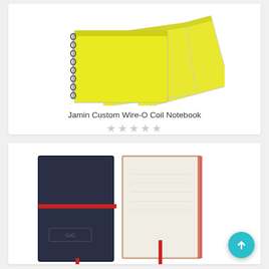[Figure (photo): Yellow wire-O coil spiral notebooks stacked at an angle on white background]
Jamin Custom Wire-O Coil Notebook
★★★★★ (empty star rating, 5 stars outlined in gray)
[Figure (photo): Dark navy blue custom leather notebooks with red elastic strap and red ribbon bookmark, one open showing cream pages, branded with logo]
[Figure (other): Teal circular scroll-to-top button with white upward arrow icon]